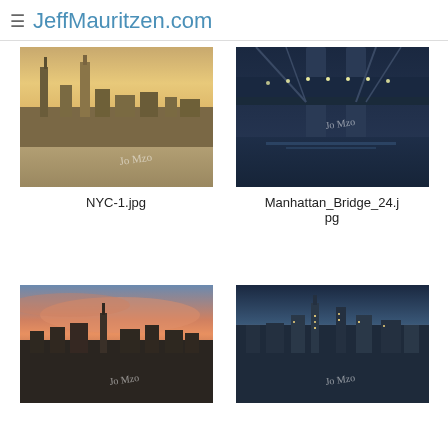≡  JeffMauritzen.com
[Figure (photo): Aerial view of New York City skyline at golden hour/sunset with One World Trade Center prominent, waterfront visible]
NYC-1.jpg
[Figure (photo): Underside of Manhattan Bridge at night with city lights reflecting on water below]
Manhattan_Bridge_24.jpg
[Figure (photo): New York City skyline at dusk/sunset showing Empire State Building with pink and orange sky]
[Figure (photo): New York City skyline at twilight/blue hour with Empire State Building and city lights glowing]